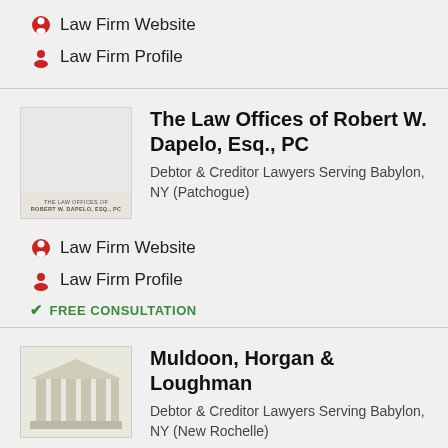Law Firm Website
Law Firm Profile
The Law Offices of Robert W. Dapelo, Esq., PC
Debtor & Creditor Lawyers Serving Babylon, NY (Patchogue)
Law Firm Website
Law Firm Profile
FREE CONSULTATION
Muldoon, Horgan & Loughman
Debtor & Creditor Lawyers Serving Babylon, NY (New Rochelle)